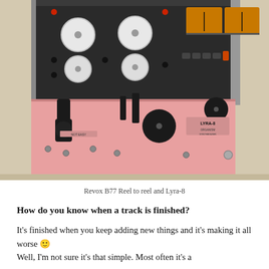[Figure (photo): Close-up photograph of a Revox B77 reel-to-reel tape recorder (dark/black unit with white knobs, top portion) and a Lyra-8 synthesizer (pink unit with black knobs and sliders, bottom portion) placed together on a surface.]
Revox B77 Reel to reel and Lyra-8
How do you know when a track is finished?
It's finished when you keep adding new things and it's making it all worse 🙂
Well, I'm not sure it's that simple. Most often it's a